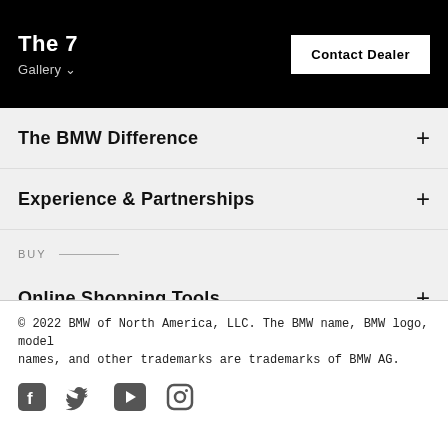The 7 | Gallery | Contact Dealer
The BMW Difference
Experience & Partnerships
BUY
Online Shopping Tools
Finance & Incentives
Company Info
© 2022 BMW of North America, LLC. The BMW name, BMW logo, model names, and other trademarks are trademarks of BMW AG.